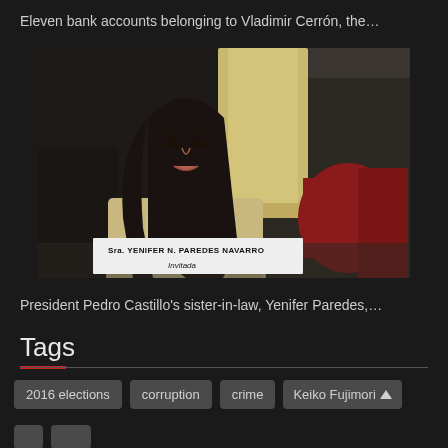Eleven bank accounts belonging to Vladimir Cerrón, the…
[Figure (photo): Woman with long dark hair sitting at a hearing table with a nameplate reading 'Sra. YENIFER N. PAREDES NAVARRO Invitada', with red velvet chairs and columns visible in background]
President Pedro Castillo's sister-in-law, Yenifer Paredes,…
Tags
2016 elections
corruption
crime
Keiko Fujimori